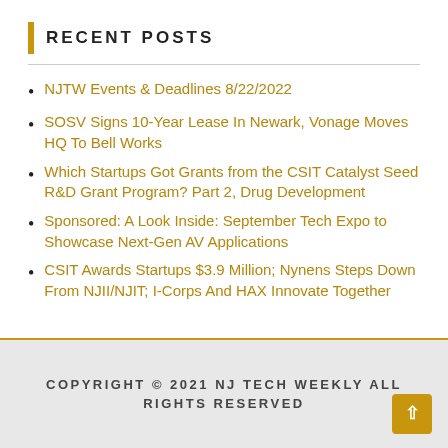RECENT POSTS
NJTW Events & Deadlines 8/22/2022
SOSV Signs 10-Year Lease In Newark, Vonage Moves HQ To Bell Works
Which Startups Got Grants from the CSIT Catalyst Seed R&D Grant Program? Part 2, Drug Development
Sponsored: A Look Inside: September Tech Expo to Showcase Next-Gen AV Applications
CSIT Awards Startups $3.9 Million; Nynens Steps Down From NJII/NJIT; I-Corps And HAX Innovate Together
COPYRIGHT © 2021 NJ TECH WEEKLY ALL RIGHTS RESERVED